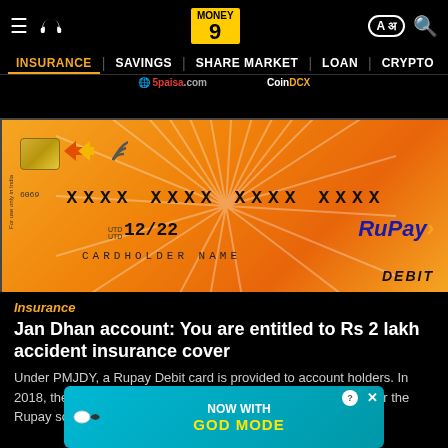Money9 — INSURANCE | SAVINGS | SHARE MARKET | LOAN | CRYPTO
[Figure (photo): RuPay Debit card on orange background with chip, card number XXXX XXXX XXXX XXXX, expiry 12/22, cardholder name, and RuPay DEBIT logo]
Insurance
Jan Dhan account: You are entitled to Rs 2 lakh accident insurance cover
Under PMJDY, a Rupay Debit card is provided to account holders. In 2018, the Centre enhanced the accidental insurance cover under the Rupay scheme for
[Figure (illustration): BitLife advertisement banner: NOW WITH GOD MODE]